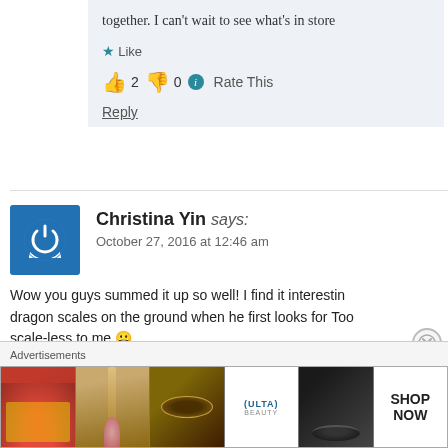together. I can't wait to see what's in store
★ Like
👍 2 👎 0 ℹ Rate This
Reply
Christina Yin says:
October 27, 2016 at 12:46 am
Wow you guys summed it up so well! I find it interesting that there are dragon scales on the ground when he first looks for Too... scale-less to me 😀
Like
Advertisements
[Figure (screenshot): ULTA beauty advertisement banner with makeup images and SHOP NOW call to action]